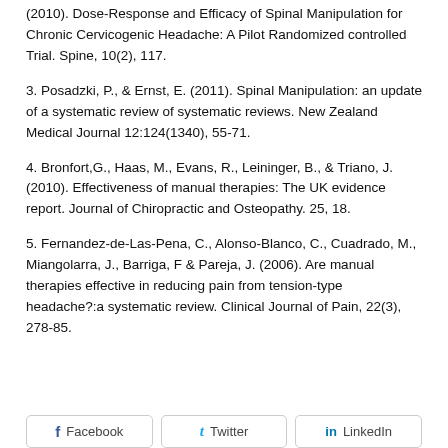(2010). Dose-Response and Efficacy of Spinal Manipulation for Chronic Cervicogenic Headache: A Pilot Randomized controlled Trial. Spine, 10(2), 117.
3. Posadzki, P., & Ernst, E. (2011). Spinal Manipulation: an update of a systematic review of systematic reviews. New Zealand Medical Journal 12:124(1340), 55-71.
4. Bronfort,G., Haas, M., Evans, R., Leininger, B., & Triano, J. (2010). Effectiveness of manual therapies: The UK evidence report. Journal of Chiropractic and Osteopathy. 25, 18.
5. Fernandez-de-Las-Pena, C., Alonso-Blanco, C., Cuadrado, M., Miangolarra, J., Barriga, F & Pareja, J. (2006). Are manual therapies effective in reducing pain from tension-type headache?:a systematic review. Clinical Journal of Pain, 22(3), 278-85.
[Figure (other): Social sharing buttons: Facebook, Twitter, LinkedIn]